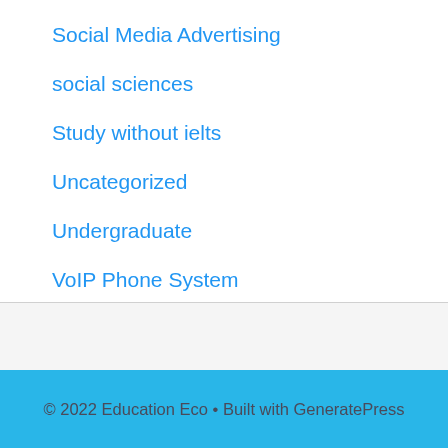Social Media Advertising
social sciences
Study without ielts
Uncategorized
Undergraduate
VoIP Phone System
without IELTS
© 2022 Education Eco • Built with GeneratePress